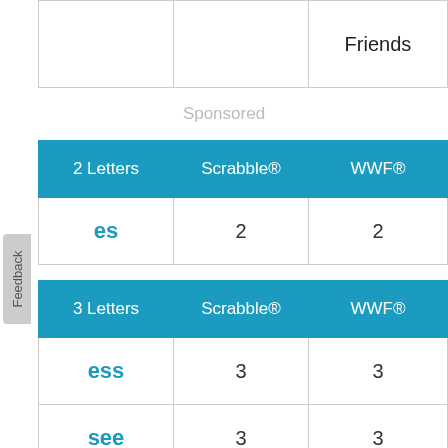|  |  | Friends |
| --- | --- | --- |
|  |  |  |
Sponsored
| 2 Letters | Scrabble® | WWF® |
| --- | --- | --- |
| es | 2 | 2 |
| 3 Letters | Scrabble® | WWF® |
| --- | --- | --- |
| ess | 3 | 3 |
| see | 3 | 3 |